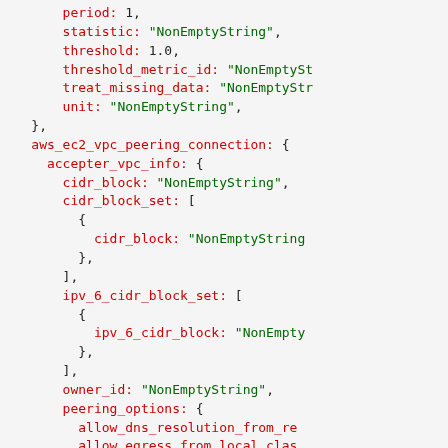Code block showing AWS EC2 VPC peering connection schema with fields: period, statistic, threshold, threshold_metric_id, treat_missing_data, unit, aws_ec2_vpc_peering_connection, accepter_vpc_info, cidr_block, cidr_block_set, ipv_6_cidr_block_set, owner_id, peering_options, allow_dns_resolution_from_remote, allow_egress_from_local_classic, allow_egress_from_local_vpc